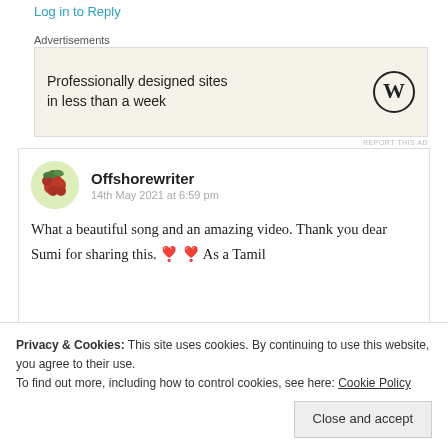Log in to Reply
Advertisements
[Figure (infographic): Advertisement banner: 'Professionally designed sites in less than a week' with WordPress logo]
REPORT THIS AD
[Figure (photo): Circular avatar photo of berries/raspberries]
Offshorewriter
14th May 2021 at 6:59 pm
What a beautiful song and an amazing video. Thank you dear Sumi for sharing this. 🖤🖤 As a Tamil
Privacy & Cookies: This site uses cookies. By continuing to use this website, you agree to their use.
To find out more, including how to control cookies, see here: Cookie Policy
Close and accept
Log in to Reply